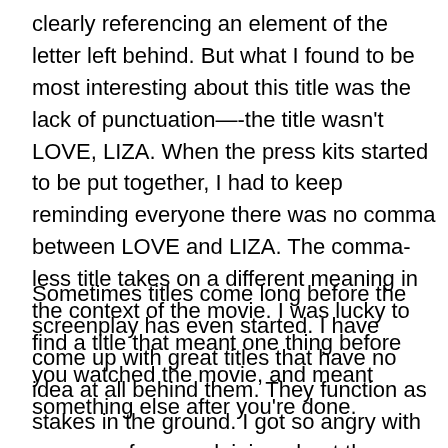clearly referencing an element of the letter left behind. But what I found to be most interesting about this title was the lack of punctuation—-the title wasn't LOVE, LIZA. When the press kits started to be put together, I had to keep reminding everyone there was no comma between LOVE and LIZA. The comma-less title takes on a different meaning in the context of the movie. I was lucky to find a title that meant one thing before you watched the movie, and meant something else after you're done.
Sometimes titles come long before the screenplay has even started. I have come up with great titles that have no idea at all behind them. They function as stakes in the ground. I got so angry with someone for complaining about the shoes I was wearing that I vowed to write a movie called WRONG SHOES. Soon after, I came up with an idea of a girl taking her video camera to her cousin's bachelorette party, and